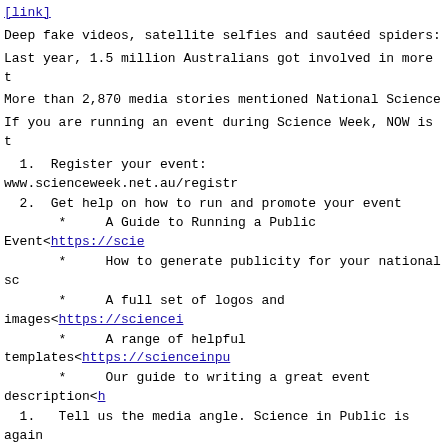Deep fake videos, satellite selfies and sautéed spiders:
Last year, 1.5 million Australians got involved in more t
More than 2,870 media stories mentioned National Science
If you are running an event during Science Week, NOW is t
1.  Register your event: www.scienceweek.net.au/registr
2.  Get help on how to run and promote your event
*    A Guide to Running a Public Event<https://scie
*    How to generate publicity for your national sc
*  A full set of logos and images<https://sciencei
*  A range of helpful templates<https://scienceinpu
*  Our guide to writing a great event description<h
1.  Tell us the media angle. Science in Public is again
More information at: www.scienceweek.net.au<https://scie
Highlights so far for 2020 include:
*    Swim with giant Australian cuttlefish<https://scie
*  Fake meat, sautéed spiders and lobster lollipops<ht
*  E$$ENTIAL MEDICINE$ – scientists from the Breaking
*  Requiem for a Reef<https://scienceinpublic.us1.list
*  The Big Watermelon Experiment<https://scienceinpub
*  Sci Art Walks into Tasmania's Wilderness: audio art
Westpac Scholars: $3.3 million for ERCs and students.